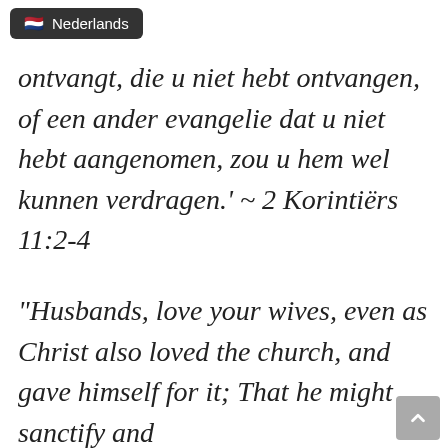Nederlands
ontvangt, die u niet hebt ontvangen, of een ander evangelie dat u niet hebt aangenomen, zou u hem wel kunnen verdragen.' ~ 2 Korintiërs 11:2-4
“Husbands, love your wives, even as Christ also loved the church, and gave himself for it; That he might sanctify and